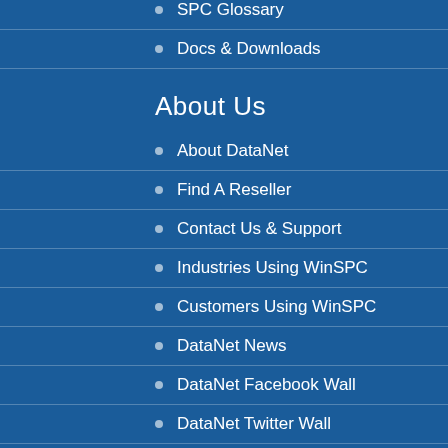SPC Glossary
Docs & Downloads
About Us
About DataNet
Find A Reseller
Contact Us & Support
Industries Using WinSPC
Customers Using WinSPC
DataNet News
DataNet Facebook Wall
DataNet Twitter Wall
Job Postings